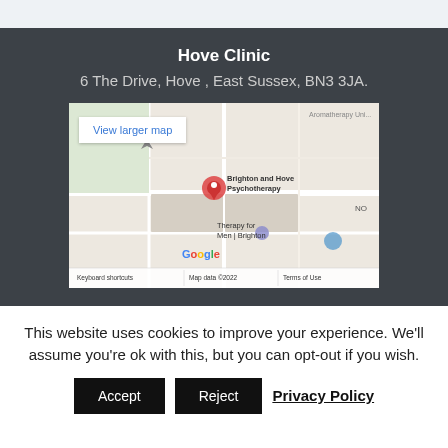Hove Clinic
6 The Drive, Hove , East Sussex, BN3 3JA.
[Figure (map): Google Maps embed showing Brighton and Hove Psychotherapy location near 6 The Drive, Hove. Shows 'View larger map' button, map labels including 'Brighton and Hove Psychotherapy', 'Therapy for Men | Brighton', Google logo, 'Keyboard shortcuts', 'Map data ©2022', 'Terms of Use'.]
This website uses cookies to improve your experience. We'll assume you're ok with this, but you can opt-out if you wish.
Accept   Reject   Privacy Policy